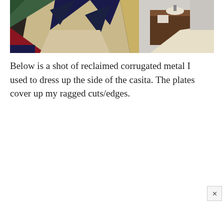[Figure (photo): Photograph of a bedroom corner showing a colorful geometric quilt/tapestry hanging on the wall with dark triangular and angular patterns in green, red, navy, and tan, and a wooden nightstand with a lamp visible in the background. A light-colored bedspread is visible in the foreground right.]
Below is a shot of reclaimed corrugated metal I used to dress up the side of the casita. The plates cover up my ragged cuts/edges.